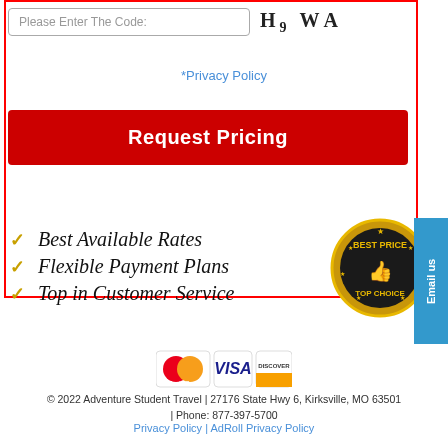Please Enter The Code:
H9 WA
*Privacy Policy
Request Pricing
✓ Best Available Rates
✓ Flexible Payment Plans
✓ Top in Customer Service
[Figure (illustration): Best Price Top Choice gold badge/seal]
[Figure (logo): Email us sidebar tab in blue]
[Figure (logo): Payment logos: MasterCard, VISA, Discover]
© 2022 Adventure Student Travel | 27176 State Hwy 6, Kirksville, MO 63501 | Phone: 877-397-5700
Privacy Policy | AdRoll Privacy Policy